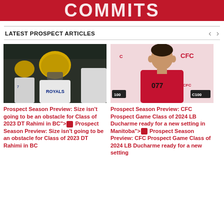COMMITS
LATEST PROSPECT ARTICLES
[Figure (photo): Football players in blue and white Royals uniforms with yellow helmets on a dark field]
Prospect Season Preview: Size isn't going to be an obstacle for Class of 2023 DT Rahimi in BC"> Prospect Season Preview: Size isn't going to be an obstacle for Class of 2023 DT Rahimi in BC
[Figure (photo): Young male athlete wearing red #077 shirt standing in front of CFC Combine backdrop with maple leaf logos]
Prospect Season Preview: CFC Prospect Game Class of 2024 LB Ducharme ready for a new setting in Manitoba"> Prospect Season Preview: CFC Prospect Game Class of 2024 LB Ducharme ready for a new setting